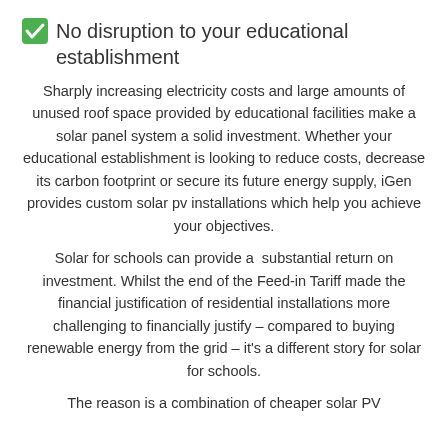✅ No disruption to your educational establishment
Sharply increasing electricity costs and large amounts of unused roof space provided by educational facilities make a solar panel system a solid investment. Whether your educational establishment is looking to reduce costs, decrease its carbon footprint or secure its future energy supply, iGen provides custom solar pv installations which help you achieve your objectives.
Solar for schools can provide a substantial return on investment. Whilst the end of the Feed-in Tariff made the financial justification of residential installations more challenging to financially justify – compared to buying renewable energy from the grid – it's a different story for solar for schools.
The reason is a combination of cheaper solar PV